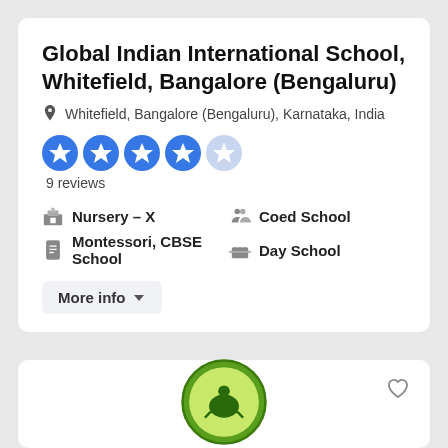Global Indian International School, Whitefield, Bangalore (Bengaluru)
Whitefield, Bangalore (Bengaluru), Karnataka, India
9 reviews
Nursery – X
Montessori, CBSE School
Coed School
Day School
More info
[Figure (logo): Green circular logo with stylized figures, partially visible at bottom of page]